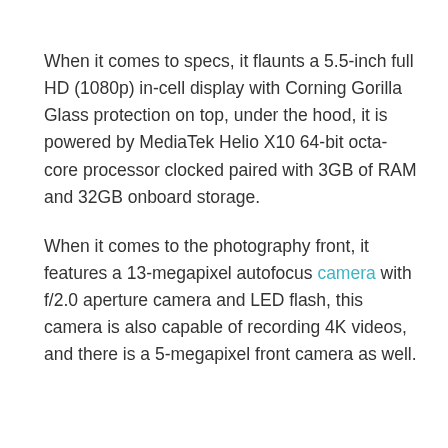When it comes to specs, it flaunts a 5.5-inch full HD (1080p) in-cell display with Corning Gorilla Glass protection on top, under the hood, it is powered by MediaTek Helio X10 64-bit octa-core processor clocked paired with 3GB of RAM and 32GB onboard storage.
When it comes to the photography front, it features a 13-megapixel autofocus camera with f/2.0 aperture camera and LED flash, this camera is also capable of recording 4K videos, and there is a 5-megapixel front camera as well.